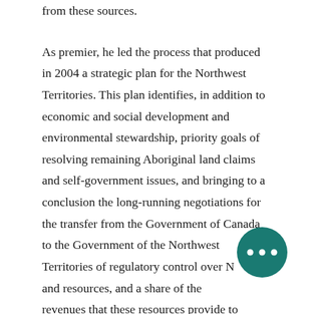from these sources.

As premier, he led the process that produced in 2004 a strategic plan for the Northwest Territories. This plan identifies, in addition to economic and social development and environmental stewardship, priority goals of resolving remaining Aboriginal land claims and self-government issues, and bringing to a conclusion the long-running negotiations for the transfer from the Government of Canada to the Government of the Northwest Territories of regulatory control over N[W] land and resources, and a share of the [resource] revenues that these resources provide to government. Handley chose not to run for a
[Figure (other): Teal circular button with three white dots (ellipsis/more options button) overlaid in the bottom-right area of the page]